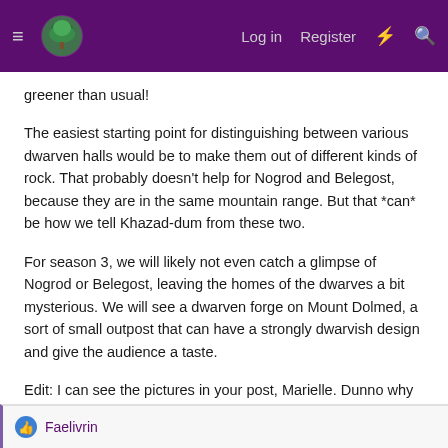Log in  Register
greener than usual!
The easiest starting point for distinguishing between various dwarven halls would be to make them out of different kinds of rock. That probably doesn't help for Nogrod and Belegost, because they are in the same mountain range. But that *can* be how we tell Khazad-dum from these two.
For season 3, we will likely not even catch a glimpse of Nogrod or Belegost, leaving the homes of the dwarves a bit mysterious. We will see a dwarven forge on Mount Dolmed, a sort of small outpost that can have a strongly dwarvish design and give the audience a taste.
Edit: I can see the pictures in your post, Marielle. Dunno why that is.
Last edited: Apr 19, 2018
Faelivrin